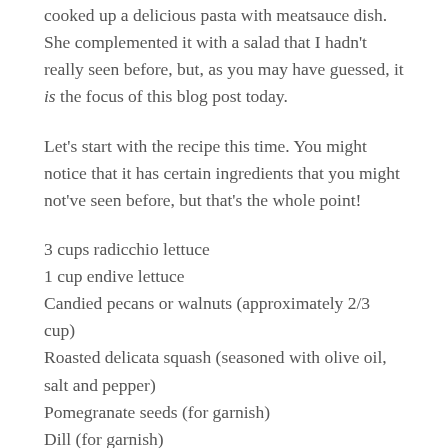cooked up a delicious pasta with meatsauce dish. She complemented it with a salad that I hadn't really seen before, but, as you may have guessed, it is the focus of this blog post today.
Let's start with the recipe this time. You might notice that it has certain ingredients that you might not've seen before, but that's the whole point!
3 cups radicchio lettuce
1 cup endive lettuce
Candied pecans or walnuts (approximately 2/3 cup)
Roasted delicata squash (seasoned with olive oil, salt and pepper)
Pomegranate seeds (for garnish)
Dill (for garnish)